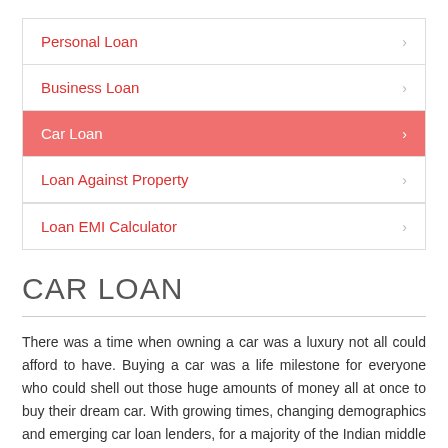Personal Loan
Business Loan
Car Loan
Loan Against Property
Loan EMI Calculator
CAR LOAN
There was a time when owning a car was a luxury not all could afford to have. Buying a car was a life milestone for everyone who could shell out those huge amounts of money all at once to buy their dream car. With growing times, changing demographics and emerging car loan lenders, for a majority of the Indian middle class, owning a car today is no longer a luxury, but in fact a necessity made possible by taking a car